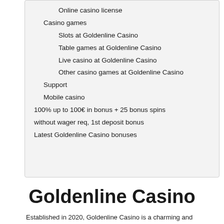Online casino license
Casino games
Slots at Goldenline Casino
Table games at Goldenline Casino
Live casino at Goldenline Casino
Other casino games at Goldenline Casino
Support
Mobile casino
100% up to 100€ in bonus + 25 bonus spins
without wager req, 1st deposit bonus
Latest Goldenline Casino bonuses
Goldenline Casino
Established in 2020, Goldenline Casino is a charming and